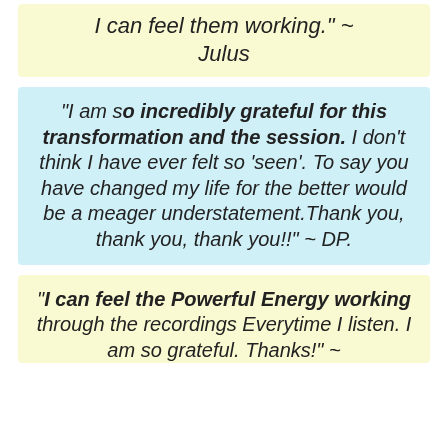I can feel them working." ~ Julus
“I am so incredibly grateful for this transformation and the session. I don't think I have ever felt so 'seen'. To say you have changed my life for the better would be a meager understatement.Thank you, thank you, thank you!!" ~ DP.
"I can feel the Powerful Energy working through the recordings Everytime I listen. I am so grateful. Thanks!" ~